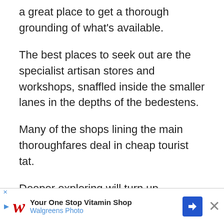a great place to get a thorough grounding of what's available.
The best places to seek out are the specialist artisan stores and workshops, snaffled inside the smaller lanes in the depths of the bedestens.
Many of the shops lining the main thoroughfares deal in cheap tourist tat.
Deeper exploring will turn up embroidered textiles from Uzbekistan, handwoven silk shawls, and intricately inscribed metalware.
Address: Main entrance off Beyazıt Square,
[Figure (other): Advertisement banner: Walgreens Photo - Your One Stop Vitamin Shop]